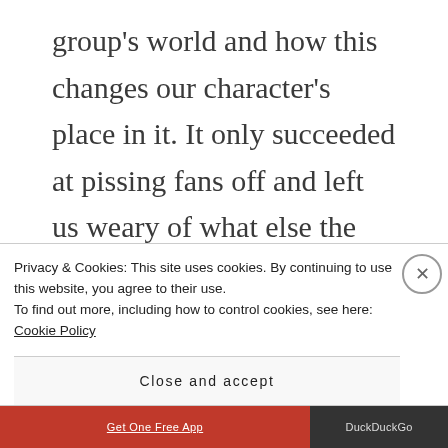group's world and how this changes our character's place in it. It only succeeded at pissing fans off and left us weary of what else the writers will do to depreciate the source material.

On talking dead, Chris Hardwick asked Robert Kirkman and Scott Gimple why
Privacy & Cookies: This site uses cookies. By continuing to use this website, you agree to their use.
To find out more, including how to control cookies, see here: Cookie Policy
Close and accept